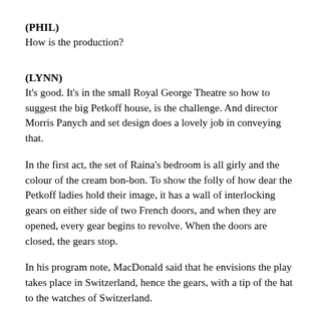(PHIL)
How is the production?
(LYNN)
It's good. It's in the small Royal George Theatre so how to suggest the big Petkoff house, is the challenge. And director Morris Panych and set designer does a lovely job in conveying that.
In the first act, the set of Raina's bedroom is all girly and the colour of the cream bon-bon. To show the folly of how dear the Petkoff ladies hold their image, it has a wall of interlocking gears on either side of two French doors, and when they are opened, every gear begins to revolve. When the doors are closed, the gears stop.
In his program note, MacDonald said that he envisions the play takes place in Switzerland, hence the gears, with a tip of the hat to the watches of Switzerland.
Panych has brought out the humour in the play without going for laughs just. Raina often looks out to the audience and not at the person spoken too, perhaps to show her worldliness? She's not quite of this world, with her fantasy ideas. But she...